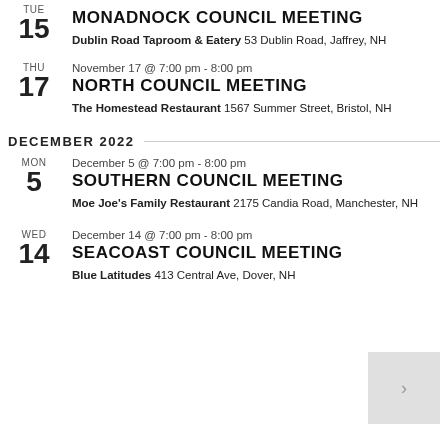November 15 @ 4:00 pm - 1:00 pm
TUE 15 — MONADNOCK COUNCIL MEETING — Dublin Road Taproom & Eatery 53 Dublin Road, Jaffrey, NH
THU 17 — November 17 @ 7:00 pm - 8:00 pm — NORTH COUNCIL MEETING — The Homestead Restaurant 1567 Summer Street, Bristol, NH
DECEMBER 2022
MON 5 — December 5 @ 7:00 pm - 8:00 pm — SOUTHERN COUNCIL MEETING — Moe Joe's Family Restaurant 2175 Candia Road, Manchester, NH
WED 14 — December 14 @ 7:00 pm - 8:00 pm — SEACOAST COUNCIL MEETING — Blue Latitudes 413 Central Ave, Dover, NH